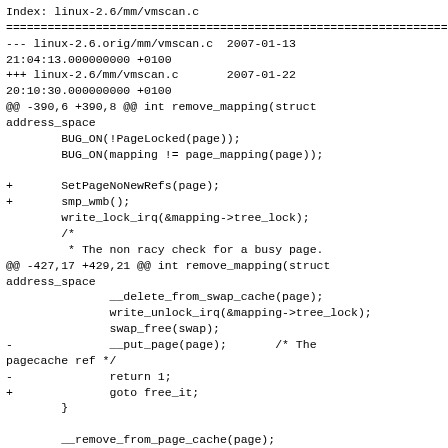Index: linux-2.6/mm/vmscan.c
================================================================
--- linux-2.6.orig/mm/vmscan.c  2007-01-13 21:04:13.000000000 +0100
+++ linux-2.6/mm/vmscan.c       2007-01-22 20:10:30.000000000 +0100
@@ -390,6 +390,8 @@ int remove_mapping(struct address_space
        BUG_ON(!PageLocked(page));
        BUG_ON(mapping != page_mapping(page));

+       SetPageNoNewRefs(page);
+       smp_wmb();
        write_lock_irq(&mapping->tree_lock);
        /*
         * The non racy check for a busy page.
@@ -427,17 +429,21 @@ int remove_mapping(struct address_space
               __delete_from_swap_cache(page);
               write_unlock_irq(&mapping->tree_lock);
               swap_free(swap);
-              __put_page(page);       /* The pagecache ref */
-              return 1;
+              goto free_it;
        }

        __remove_from_page_cache(page);
        write_unlock_irq(&mapping->tree_lock);
-       put_page(page);